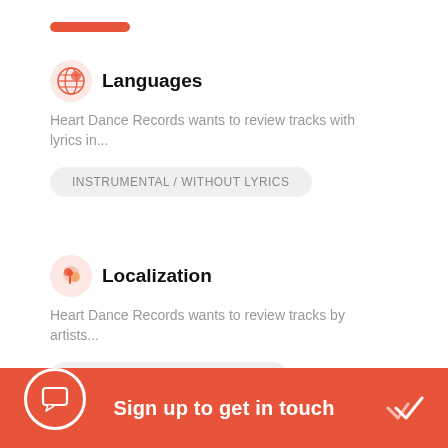[Figure (illustration): Red/orange horizontal bar accent]
Languages
Heart Dance Records wants to review tracks with lyrics in...
INSTRUMENTAL / WITHOUT LYRICS
Localization
Heart Dance Records wants to review tracks by artists...
FROM ANY COUNTRY / REGION
Sign up to get in touch